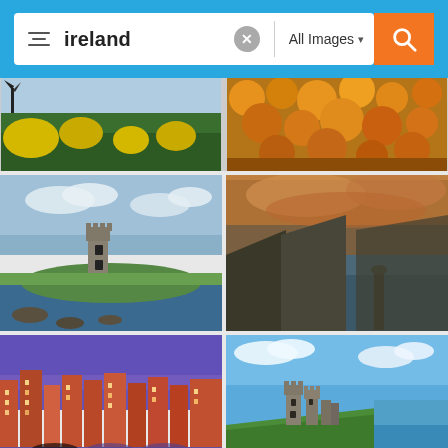[Figure (screenshot): Mobile image search interface showing search bar with query 'ireland' and 'All Images' filter, followed by a grid of Ireland travel photos including countryside with yellow flowers, autumn foliage, a castle on water, Cliffs of Moher, Dublin city at night, Dunluce Castle ruins, and partial bottom row with a map of Ireland]
ireland
All Images